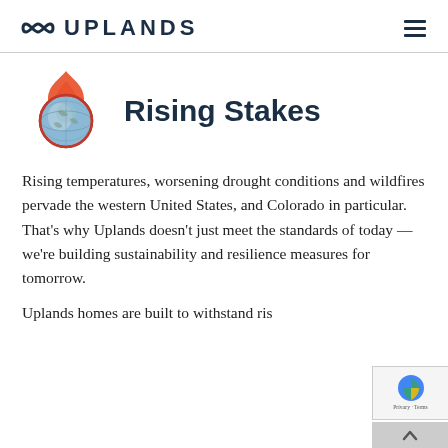UPLANDS
[Figure (logo): Uplands logo: stylized infinity/wave symbol followed by the word UPLANDS in bold dark navy uppercase letters]
Rising Stakes
[Figure (illustration): Globe with flame icon — a light blue globe encircled by an orange flame outline]
Rising temperatures, worsening drought conditions and wildfires pervade the western United States, and Colorado in particular. That's why Uplands doesn't just meet the standards of today — we're building sustainability and resilience measures for tomorrow.
Uplands homes are built to withstand ris...